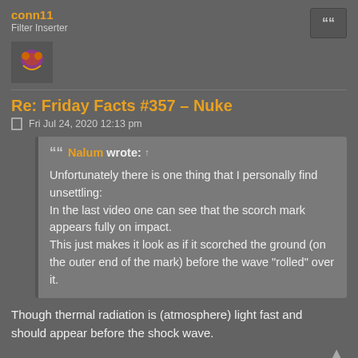conn11
Filter Inserter
Re: Friday Facts #357 – Nuke
Fri Jul 24, 2020 12:13 pm
Nalum wrote: ↑
Unfortunately there is one thing that I personally find unsettling:
In the last video one can see that the scorch mark appears fully on impact.
This just makes it look as if it scorched the ground (on the outer end of the mark) before the wave "rolled" over it.
Though thermal radiation is (atmosphere) light fast and should appear before the shock wave.
Brambor
Fast Inserter